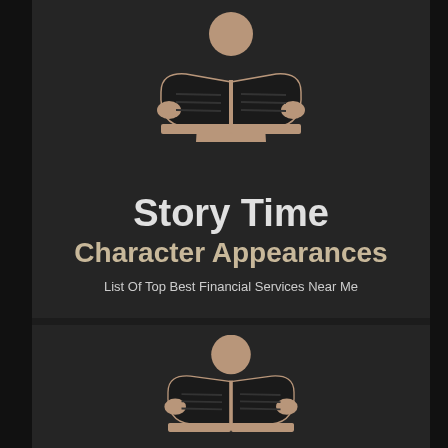[Figure (illustration): Person reading a book icon in tan/beige color on dark background, upper section]
Story Time
Character Appearances
List Of Top Best Financial Services Near Me
[Figure (illustration): Person reading a book icon in tan/beige color on dark background, lower section (partial)]